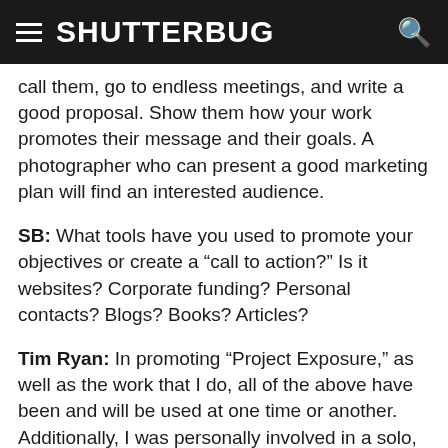SHUTTERBUG
call them, go to endless meetings, and write a good proposal. Show them how your work promotes their message and their goals. A photographer who can present a good marketing plan will find an interested audience.
SB: What tools have you used to promote your objectives or create a “call to action?” Is it websites? Corporate funding? Personal contacts? Blogs? Books? Articles?
Tim Ryan: In promoting “Project Exposure,” as well as the work that I do, all of the above have been and will be used at one time or another. Additionally, I was personally involved in a solo, two-month gallery